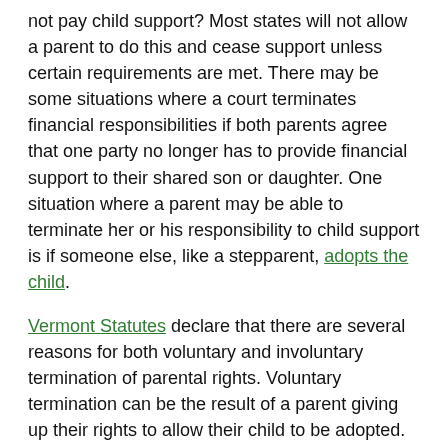not pay child support? Most states will not allow a parent to do this and cease support unless certain requirements are met. There may be some situations where a court terminates financial responsibilities if both parents agree that one party no longer has to provide financial support to their shared son or daughter. One situation where a parent may be able to terminate her or his responsibility to child support is if someone else, like a stepparent, adopts the child.
Vermont Statutes declare that there are several reasons for both voluntary and involuntary termination of parental rights. Voluntary termination can be the result of a parent giving up their rights to allow their child to be adopted. Typically by either by another family member, or by the other parent's new spouse. However, involuntary termination is generally the result of an action that is detrimental to the child. These actions can include neglect, abandonment, and physical or sexual abuse. You can also forfeit your rights by refusing to pay child support.